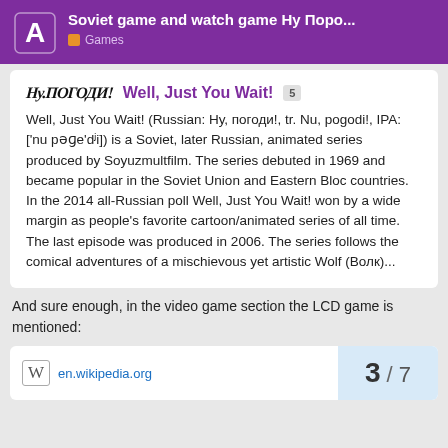Soviet game and watch game Ну Поро... | Games
Well, Just You Wait! (Russian: Ну, погоди!, tr. Nu, pogodi!, IPA: ['nu pəɡeʻdʲi]) is a Soviet, later Russian, animated series produced by Soyuzmultfilm. The series debuted in 1969 and became popular in the Soviet Union and Eastern Bloc countries. In the 2014 all-Russian poll Well, Just You Wait! won by a wide margin as people's favorite cartoon/animated series of all time. The last episode was produced in 2006. The series follows the comical adventures of a mischievous yet artistic Wolf (Волк)...
And sure enough, in the video game section the LCD game is mentioned:
[Figure (screenshot): Partial Wikipedia link card showing 'en.wikipedia.org' with pagination showing 3/7]